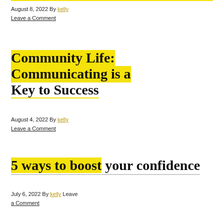August 8, 2022 By kelly
Leave a Comment
Community Life: Communicating is a Key to Success
August 4, 2022 By kelly
Leave a Comment
5 ways to boost your confidence
July 6, 2022 By kelly Leave a Comment